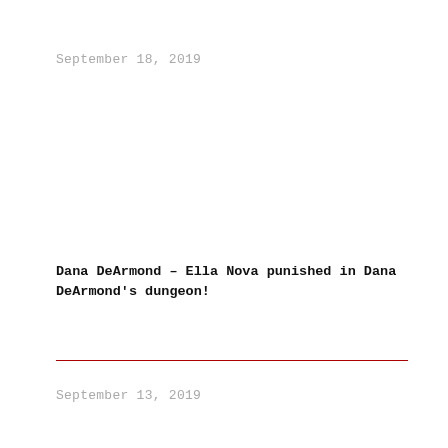September 18, 2019
Dana DeArmond – Ella Nova punished in Dana DeArmond's dungeon!
September 13, 2019